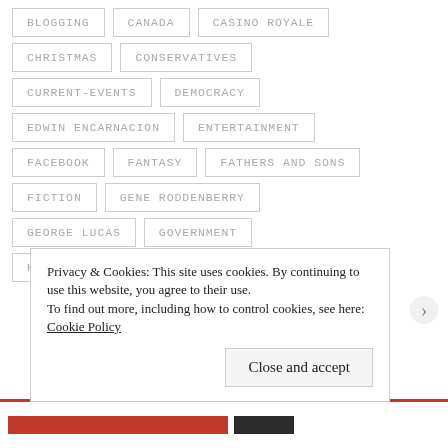BLOGGING
CANADA
CASINO ROYALE
CHRISTMAS
CONSERVATIVES
CURRENT-EVENTS
DEMOCRACY
EDWIN ENCARNACION
ENTERTAINMENT
FACEBOOK
FANTASY
FATHERS AND SONS
FICTION
GENE RODDENBERRY
GEORGE LUCAS
GOVERNMENT
HARRY POTTER
HOPE
IAN FLEMING
Privacy & Cookies: This site uses cookies. By continuing to use this website, you agree to their use. To find out more, including how to control cookies, see here: Cookie Policy
Close and accept